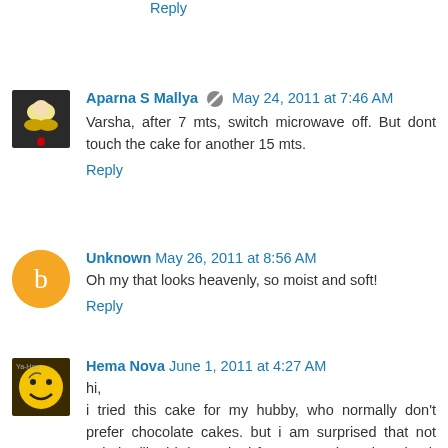Reply
Aparna S Mallya  May 24, 2011 at 7:46 AM
Varsha, after 7 mts, switch microwave off. But dont touch the cake for another 15 mts.
Reply
Unknown  May 26, 2011 at 8:56 AM
Oh my that looks heavenly, so moist and soft!
Reply
Hema Nova  June 1, 2011 at 4:27 AM
hi,
i tried this cake for my hubby, who normally don't prefer chocolate cakes. but i am surprised that not only he liked it but asked for a second serving. thank you so much.
Reply